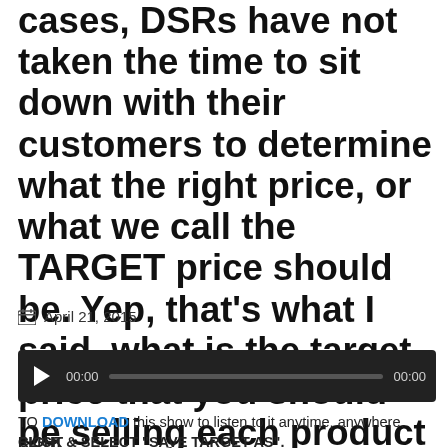and the customer. In most cases, DSRs have not taken the time to sit down with their customers to determine what the right price, or what we call the TARGET price should be. Yep, that's what I said, what is the target price that you should be selling each product for to every customer? It's simple math.
April 21, 2015
[Figure (other): Audio player widget with play button, time display 00:00, progress bar, and end time 00:00 on dark background]
TO DOWNLOAD this show to listen to it anytime, anywhere, RIGHT CLICK & SELECT "SAVE TARGET AS".